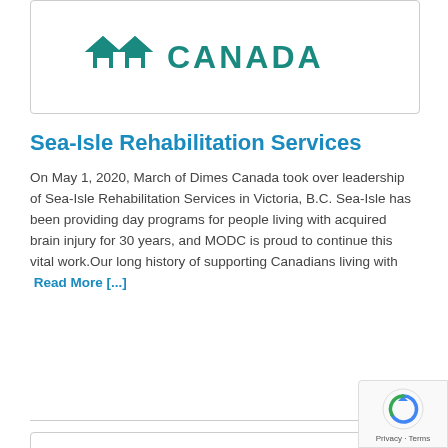[Figure (logo): March of Dimes Canada logo — two maple leaf house shapes in teal followed by the word CANADA in large teal letters]
Sea-Isle Rehabilitation Services
On May 1, 2020, March of Dimes Canada took over leadership of Sea-Isle Rehabilitation Services in Victoria, B.C. Sea-Isle has been providing day programs for people living with acquired brain injury for 30 years, and MODC is proud to continue this vital work.Our long history of supporting Canadians living with  Read More [...]
[Figure (logo): Google reCAPTCHA badge with circular arrow icon and 'Privacy - Terms' text]